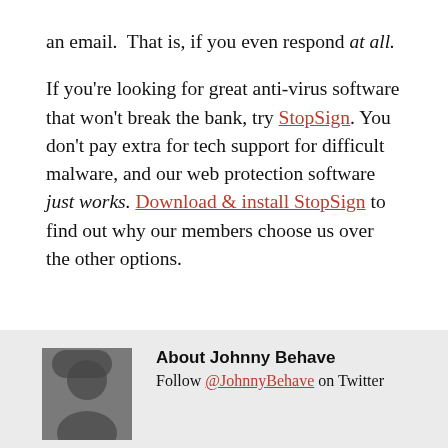an email.  That is, if you even respond at all.
If you're looking for great anti-virus software that won't break the bank, try StopSign. You don't pay extra for tech support for difficult malware, and our web protection software just works. Download & install StopSign to find out why our members choose us over the other options.
FILED UNDER: BLOG
TAGGED WITH: IDENTITY THEFT, ONLINE SCAMS
About Johnny Behave
Follow @JohnnyBehave on Twitter